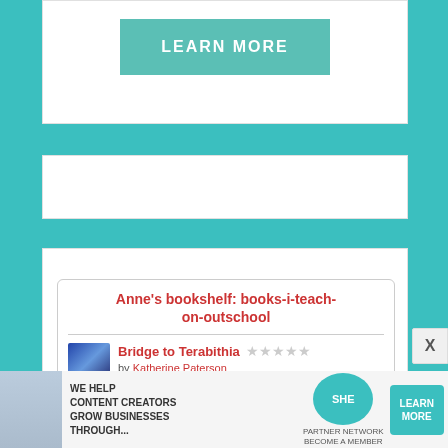[Figure (other): Teal/green LEARN MORE button on white card background]
[Figure (other): Blank white card / advertisement placeholder]
[Figure (other): Goodreads-style bookshelf widget showing Anne's bookshelf: books-i-teach-on-outschool, featuring Bridge to Terabithia by Katherine Paterson with star rating and tag books-i-teach-on-outschool]
[Figure (other): Bottom advertisement banner: SHE Partner Network - We help content creators grow businesses through... with LEARN MORE button]